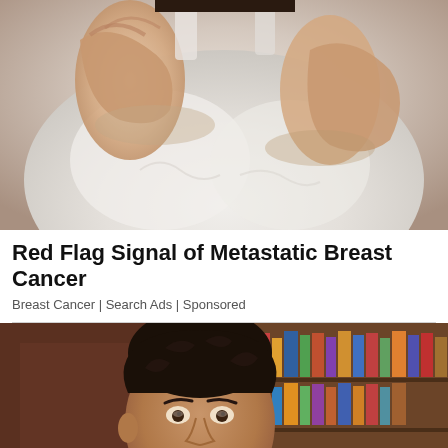[Figure (photo): Close-up photo of a person in a white tank top performing a breast self-examination with both hands]
Red Flag Signal of Metastatic Breast Cancer
Breast Cancer | Search Ads | Sponsored
[Figure (photo): Portrait photo of a dark-haired man looking upward, with bookshelves in the background]